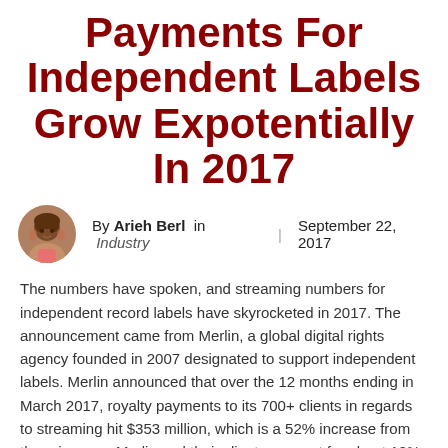Payments For Independent Labels Grow Expotentially In 2017
By Arieh Berl in Industry | September 22, 2017
The numbers have spoken, and streaming numbers for independent record labels have skyrocketed in 2017. The announcement came from Merlin, a global digital rights agency founded in 2007 designated to support independent labels. Merlin announced that over the 12 months ending in March 2017, royalty payments to its 700+ clients in regards to streaming hit $353 million, which is a 52% increase from the prior year. Merlin and their clients account for about 12% of the global digital...